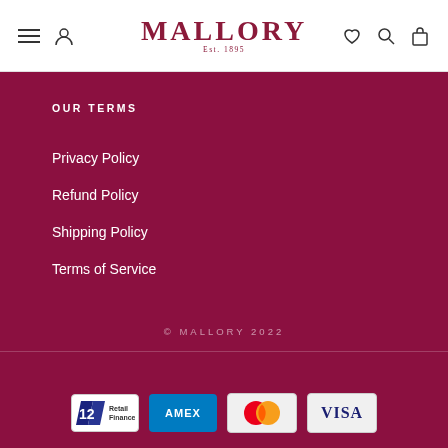MALLORY Est. 1895
OUR TERMS
Privacy Policy
Refund Policy
Shipping Policy
Terms of Service
© MALLORY 2022
[Figure (logo): Payment method badges: V12 Retail Finance, American Express, Mastercard, Visa]